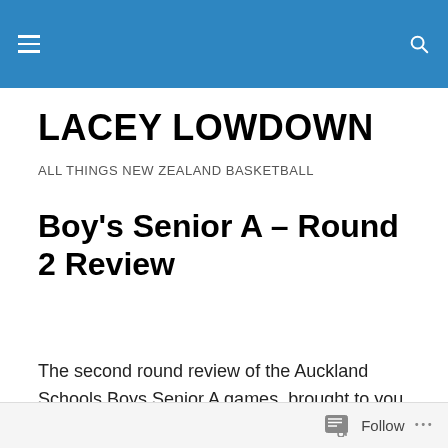LACEY LOWDOWN — navigation header bar
LACEY LOWDOWN
ALL THINGS NEW ZEALAND BASKETBALL
Boy's Senior A – Round 2 Review
The second round review of the Auckland Schools Boys Senior A games, brought to you in conjunction with Dynamic Sport New Zealand, features wins for Avondale
Follow